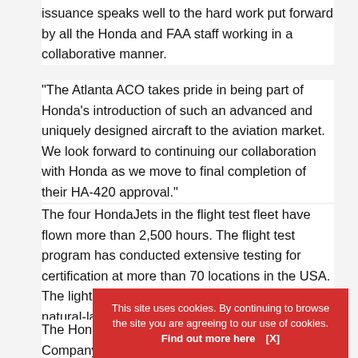issuance speaks well to the hard work put forward by all the Honda and FAA staff working in a collaborative manner.
“The Atlanta ACO takes pride in being part of Honda’s introduction of such an advanced and uniquely designed aircraft to the aviation market. We look forward to continuing our collaboration with Honda as we move to final completion of their HA-420 approval.”
The four HondaJets in the flight test fleet have flown more than 2,500 hours. The flight test program has conducted extensive testing for certification at more than 70 locations in the USA. The light jet has a composite fuselage and natural-laminar flow wings over which its engines are mounted.
The Honda
Company’s
This site uses cookies. By continuing to browse the site you are agreeing to our use of cookies. Find out more here   [X]